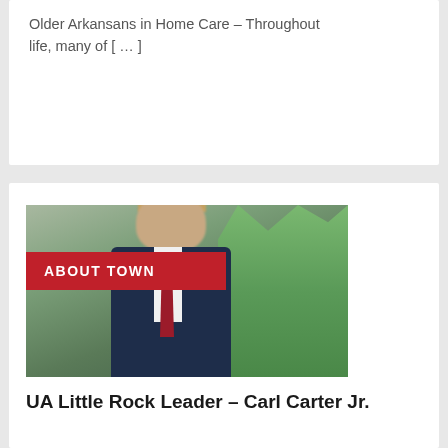Older Arkansans in Home Care – Throughout life, many of [ … ]
[Figure (photo): Man in navy suit with red tie standing outdoors in a park setting, with 'ABOUT TOWN' red banner overlay]
UA Little Rock Leader – Carl Carter Jr.
Guest Writer  -  May 1, 2022